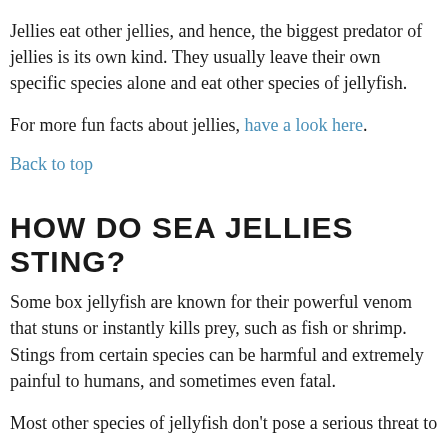Jellies eat other jellies, and hence, the biggest predator of jellies is its own kind. They usually leave their own specific species alone and eat other species of jellyfish.
For more fun facts about jellies, have a look here.
Back to top
HOW DO SEA JELLIES STING?
Some box jellyfish are known for their powerful venom that stuns or instantly kills prey, such as fish or shrimp. Stings from certain species can be harmful and extremely painful to humans, and sometimes even fatal.
Most other species of jellyfish don't pose a serious threat to